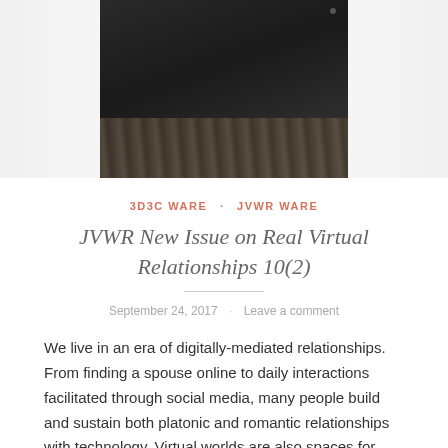[Figure (photo): A smartphone lying on a wooden surface, viewed from above, with dark device body visible against a warm wooden background. Side areas are blurred/faded.]
3D3C WARE · JVWR WARE
JVWR New Issue on Real Virtual Relationships 10(2)
September 24, 2017 · Leave a comment
We live in an era of digitally-mediated relationships. From finding a spouse online to daily interactions facilitated through social media, many people build and sustain both platonic and romantic relationships with technology. Virtual worlds are also spaces for these